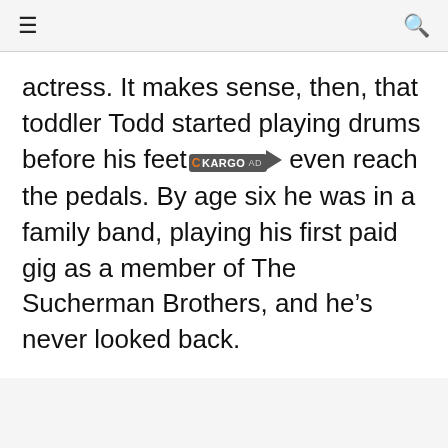☰ [search icon]
actress. It makes sense, then, that toddler Todd started playing drums before his feet could even reach the pedals. By age six he was in a family band, playing his first paid gig as a member of The Sucherman Brothers, and he's never looked back.